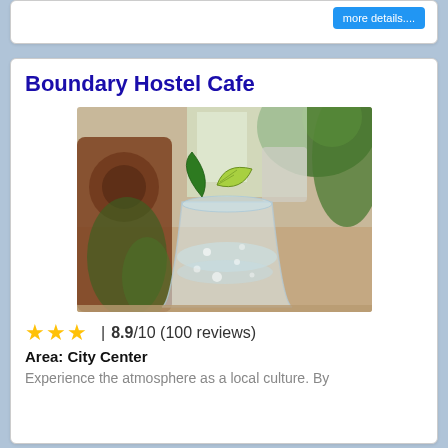more details....
Boundary Hostel Cafe
[Figure (photo): Photo of a drink (iced cocktail with lime wedge garnish) in a glass on a table, with green tropical plants and a decorative carved wooden chair visible in the background.]
★★★ | 8.9/10 (100 reviews)
Area: City Center
Experience the atmosphere as a local culture. By